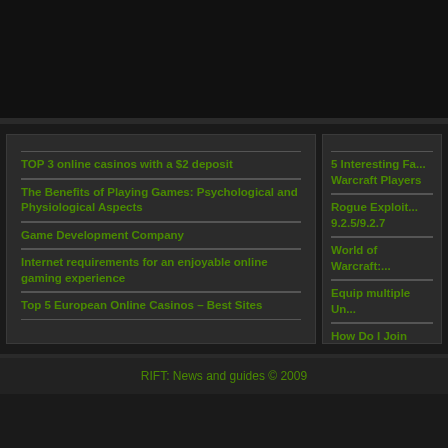[Figure (other): Dark banner/advertisement area at top]
TOP 3 online casinos with a $2 deposit
The Benefits of Playing Games: Psychological and Physiological Aspects
Game Development Company
Internet requirements for an enjoyable online gaming experience
Top 5 European Online Casinos – Best Sites
5 Interesting Fa... Warcraft Players
Rogue Exploit... 9.2.5/9.2.7
World of Warcraft:...
Equip multiple Un...
How Do I Join Esp...
RIFT: News and guides © 2009